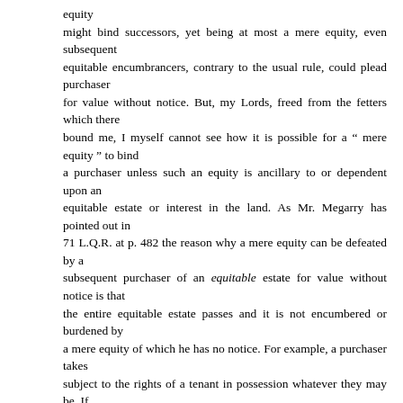equity might bind successors, yet being at most a mere equity, even subsequent equitable encumbrancers, contrary to the usual rule, could plead purchaser for value without notice. But, my Lords, freed from the fetters which there bound me, I myself cannot see how it is possible for a " mere equity " to bind a purchaser unless such an equity is ancillary to or dependent upon an equitable estate or interest in the land. As Mr. Megarry has pointed out in 71 L.Q.R. at p. 482 the reason why a mere equity can be defeated by a subsequent purchaser of an equitable estate for value without notice is that the entire equitable estate passes and it is not encumbered or burdened by a mere equity of which he has no notice. For example, a purchaser takes subject to the rights of a tenant in possession whatever they may be. If he sees a document under which the tenant holds, that is sufficient unless he knows, or possibly in some circumstances is put in inquiry to discover, that the tenant has in addition a mere equity, e.g., a right to rectify